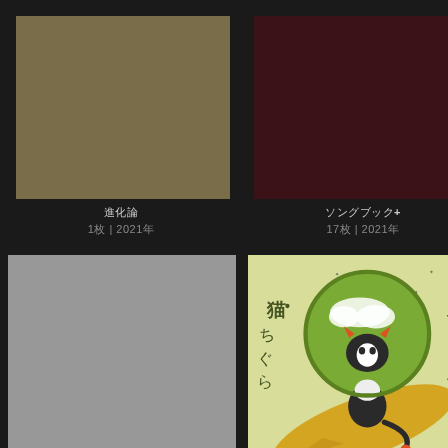[Figure (illustration): Olive brown solid color square, album art placeholder]
[Figure (illustration): Dark maroon / dark red solid color square, album art placeholder]
進化論
1枚 | 2021年
ソングブック+
17枚 | 2021年
[Figure (illustration): Gray solid color square, album art placeholder]
[Figure (illustration): Illustrated album cover with cartoon black and white cat astronaut wearing a large round green helmet with clouds, standing on a golden comet or planet, Japanese text reading 猫ちぐら and スピッツ]